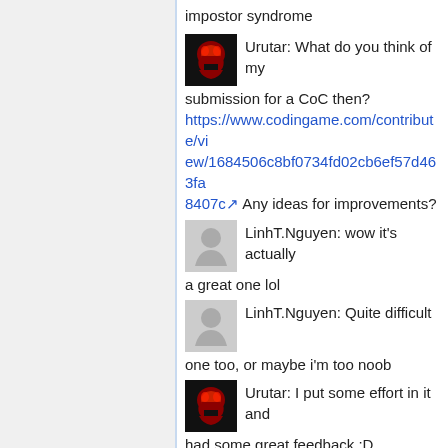impostor syndrome
Urutar: What do you think of my submission for a CoC then? https://www.codingame.com/contribute/view/1684506c8bf0734fd02cb6ef57d463fa8407c Any ideas for improvements?
LinhT.Nguyen: wow it's actually a great one lol
LinhT.Nguyen: Quite difficult one too, or maybe i'm too noob
Urutar: I put some effort in it and had some great feedback :D
LinhT.Nguyen: damn i am not